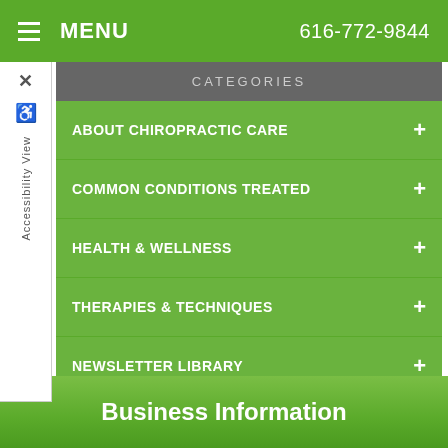MENU  616-772-9844
CATEGORIES
ABOUT CHIROPRACTIC CARE
COMMON CONDITIONS TREATED
HEALTH & WELLNESS
THERAPIES & TECHNIQUES
NEWSLETTER LIBRARY
WELLNESS4KIDS
Business Information